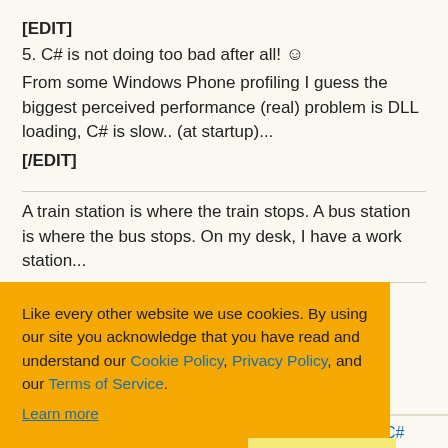[EDIT]
5. C# is not doing too bad after all! 🙂
From some Windows Phone profiling I guess the biggest perceived performance (real) problem is DLL loading, C# is slow.. (at startup)...
[/EDIT]
A train station is where the train stops. A bus station is where the bus stops. On my desk, I have a work station...
...develop random
2 upvotes
[Figure (screenshot): Cookie consent banner overlay with orange background. Text: 'Like every other website we use cookies. By using our site you acknowledge that you have read and understand our Cookie Policy, Privacy Policy, and our Terms of Service. Learn more'. Buttons: 'Ask me later', 'Decline', 'Allow cookies'.]
Re: Fun performance test on Win7/Win8 with C++, C#